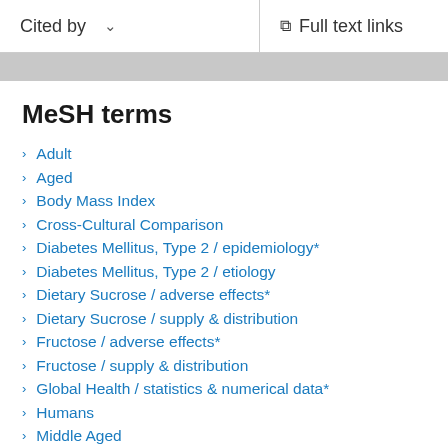Cited by   Full text links
MeSH terms
Adult
Aged
Body Mass Index
Cross-Cultural Comparison
Diabetes Mellitus, Type 2 / epidemiology*
Diabetes Mellitus, Type 2 / etiology
Dietary Sucrose / adverse effects*
Dietary Sucrose / supply & distribution
Fructose / adverse effects*
Fructose / supply & distribution
Global Health / statistics & numerical data*
Humans
Middle Aged